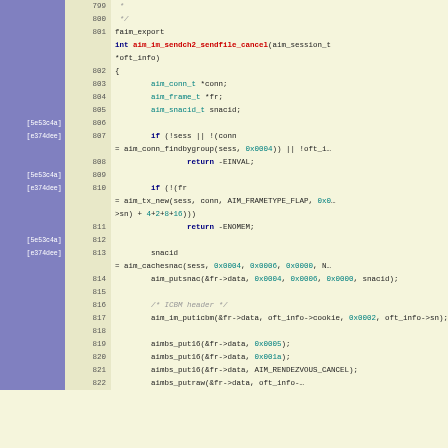[Figure (screenshot): Source code viewer showing C code for aim_im_sendch2_sendfile_cancel function, lines 799-822, with git blame annotations in left gutter showing commit hashes [5e53c4a] and [e374dee], line numbers in center column, and syntax-highlighted C code on right.]